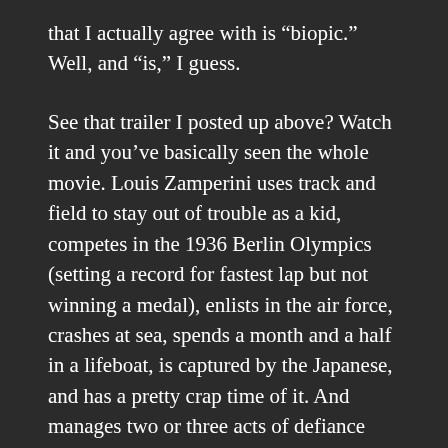that I actually agree with is “biopic.” Well, and “is,” I guess.
See that trailer I posted up above? Watch it and you’ve basically seen the whole movie. Louis Zamperini uses track and field to stay out of trouble as a kid, competes in the 1936 Berlin Olympics (setting a record for fastest lap but not winning a medal), enlists in the air force, crashes at sea, spends a month and a half in a lifeboat, is captured by the Japanese, and has a pretty crap time of it. And manages two or three acts of defiance and resilience, most of which are in the trailer. Takes a beating from fellow prisoners to protect other prisoners, lifts a heavy piece of wood until his tormentor is